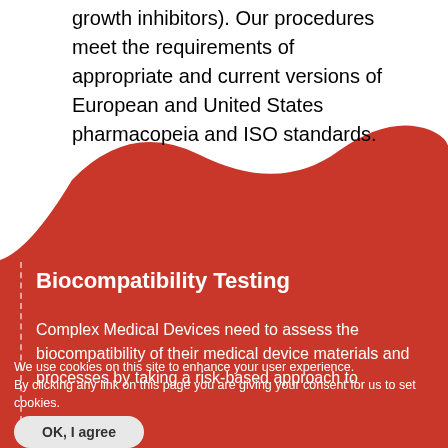growth inhibitors). Our procedures meet the requirements of appropriate and current versions of European and United States pharmacopeia and ISO standards.
Biocompatibility Testing
Complex Medical Devices need to assess the biocompatibility of their medical device materials and processes by taking a risk-based approach to
We use cookies on this site to enhance your user experience.
By clicking any link on this page you are giving your consent for us to set cookies.